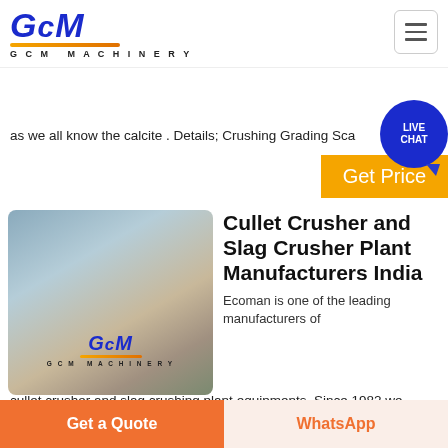[Figure (logo): GCM Machinery logo - blue italic GCM text with orange underline and G C M MACHINERY subtitle]
as we all know the calcite . Details; Crushing Grading Sca
Get Price
[Figure (photo): Photograph of a large industrial crushing plant facility at a quarry site with GCM Machinery watermark]
Cullet Crusher and Slag Crusher Plant Manufacturers India
Ecoman is one of the leading manufacturers of
cullet crusher and slag crushing plant equipments. Since 1982 we
Get a Quote
WhatsApp